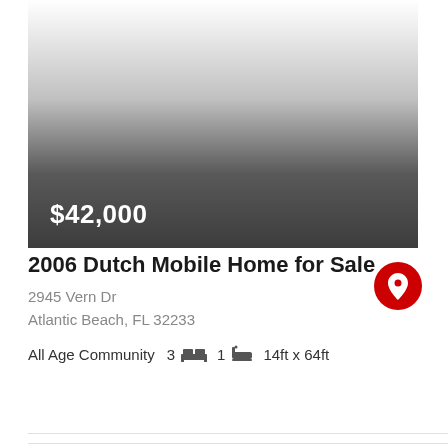[Figure (photo): Mobile home listing photo with gradient overlay showing price $42,000]
2006 Dutch Mobile Home for Sale
2945 Vern Dr
Atlantic Beach, FL 32233
All Age Community  3  1  14ft x 64ft